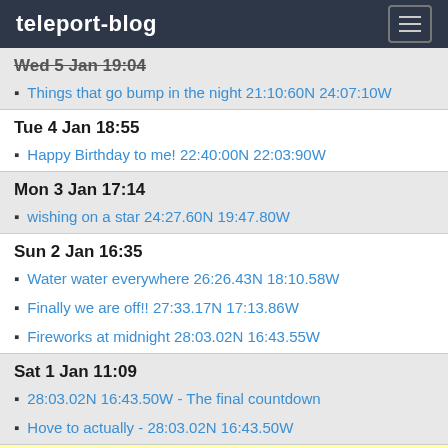teleport-blog
Wed 5 Jan 19:04
Things that go bump in the night 21:10:60N 24:07:10W
Tue 4 Jan 18:55
Happy Birthday to me! 22:40:00N 22:03:90W
Mon 3 Jan 17:14
wishing on a star 24:27.60N 19:47.80W
Sun 2 Jan 16:35
Water water everywhere 26:26.43N 18:10.58W
Finally we are off!! 27:33.17N 17:13.86W
Fireworks at midnight 28:03.02N 16:43.55W
Sat 1 Jan 11:09
28:03.02N 16:43.50W - The final countdown
Hove to actually - 28:03.02N 16:43.50W
2021
Dec 2021
Wed 29 Dec 18:02